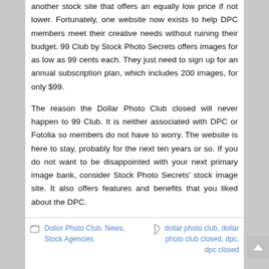another stock site that offers an equally low price if not lower. Fortunately, one website now exists to help DPC members meet their creative needs without ruining their budget. 99 Club by Stock Photo Secrets offers images for as low as 99 cents each. They just need to sign up for an annual subscription plan, which includes 200 images, for only $99.
The reason the Dollar Photo Club closed will never happen to 99 Club. It is neither associated with DPC or Fotolia so members do not have to worry. The website is here to stay, probably for the next ten years or so. If you do not want to be disappointed with your next primary image bank, consider Stock Photo Secrets' stock image site. It also offers features and benefits that you liked about the DPC.
Dollor Photo Club, News, Stock Agencies | dollar photo club, dollar photo club closed, dpc, dpc closed